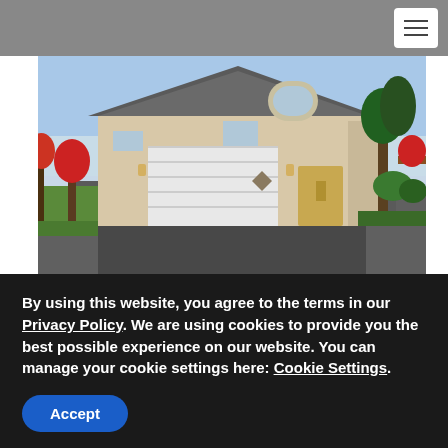[Figure (photo): Exterior photo of a two-story beige/tan house with gray roof, two-car garage, dark asphalt driveway, tropical plants and palm trees]
CONDO
15TH FAIRWAY VILLAS @ WAIKOLOA #B
By using this website, you agree to the terms in our Privacy Policy. We are using cookies to provide you the best possible experience on our website. You can manage your cookie settings here: Cookie Settings.
Accept